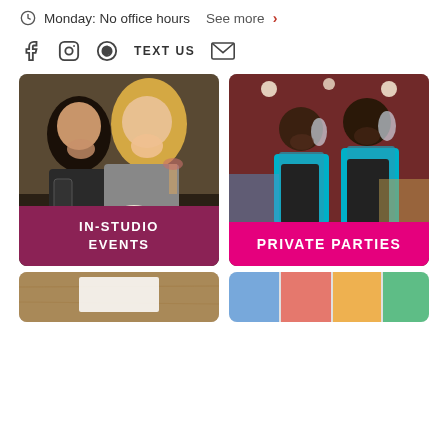Monday: No office hours   See more ›
[Figure (other): Social media icons row: Facebook, Instagram, Pinterest, TEXT US, Email envelope]
[Figure (photo): Two women laughing and painting at an art studio event, with paint palette and wine glasses]
IN-STUDIO EVENTS
[Figure (photo): Two people in teal shirts and black aprons smiling at a painting class, holding glass art pieces]
PRIVATE PARTIES
[Figure (photo): Bottom left partial image - appears to be a canvas or art supply on wooden surface]
[Figure (photo): Bottom right partial image - colorful paintings or artwork displayed]